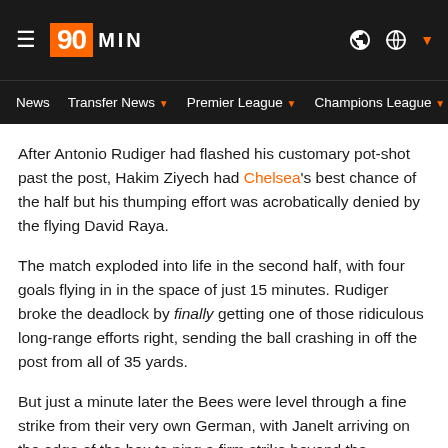90MIN
News  Transfer News  Premier League  Champions League  Eu
After Antonio Rudiger had flashed his customary pot-shot past the post, Hakim Ziyech had Chelsea's best chance of the half but his thumping effort was acrobatically denied by the flying David Raya.
The match exploded into life in the second half, with four goals flying in in the space of just 15 minutes. Rudiger broke the deadlock by finally getting one of those ridiculous long-range efforts right, sending the ball crashing in off the post from all of 35 yards.
But just a minute later the Bees were level through a fine strike from their very own German, with Janelt arriving on the edge of the box to ping a firm strike beyond the goalkeeper.